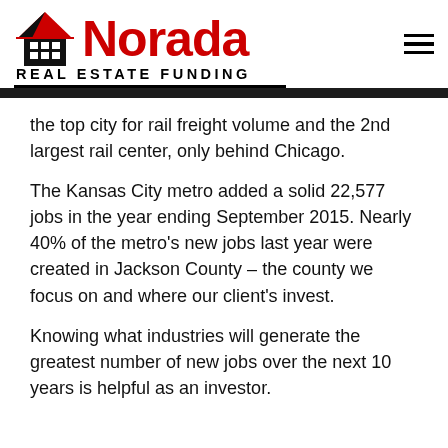Norada Real Estate Funding
the top city for rail freight volume and the 2nd largest rail center, only behind Chicago.
The Kansas City metro added a solid 22,577 jobs in the year ending September 2015. Nearly 40% of the metro's new jobs last year were created in Jackson County – the county we focus on and where our client's invest.
Knowing what industries will generate the greatest number of new jobs over the next 10 years is helpful as an investor.